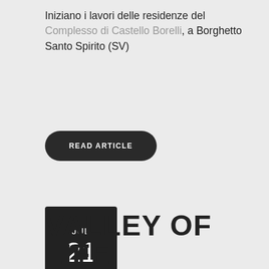Iniziano i lavori delle residenze del Complesso di Castello Borelli, a Borghetto Santo Spirito (SV)
READ ARTICLE
JUL 21
VALLEY OF LIFE